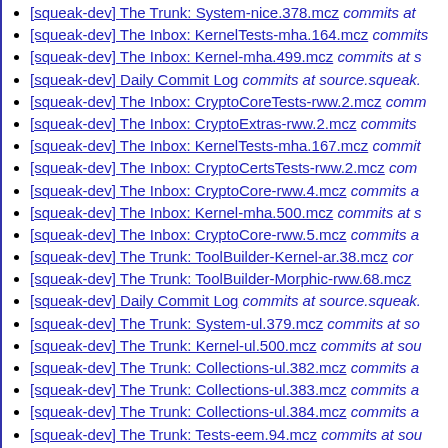[squeak-dev] The Trunk: System-nice.378.mcz  commits at
[squeak-dev] The Inbox: KernelTests-mha.164.mcz  commits
[squeak-dev] The Inbox: Kernel-mha.499.mcz  commits at s
[squeak-dev] Daily Commit Log  commits at source.squeak.
[squeak-dev] The Inbox: CryptoCoreTests-rww.2.mcz  comm
[squeak-dev] The Inbox: CryptoExtras-rww.2.mcz  commits
[squeak-dev] The Inbox: KernelTests-mha.167.mcz  commit
[squeak-dev] The Inbox: CryptoCertsTests-rww.2.mcz  com
[squeak-dev] The Inbox: CryptoCore-rww.4.mcz  commits a
[squeak-dev] The Inbox: Kernel-mha.500.mcz  commits at s
[squeak-dev] The Inbox: CryptoCore-rww.5.mcz  commits a
[squeak-dev] The Trunk: ToolBuilder-Kernel-ar.38.mcz  cor
[squeak-dev] The Trunk: ToolBuilder-Morphic-rww.68.mcz
[squeak-dev] Daily Commit Log  commits at source.squeak.
[squeak-dev] The Trunk: System-ul.379.mcz  commits at so
[squeak-dev] The Trunk: Kernel-ul.500.mcz  commits at sou
[squeak-dev] The Trunk: Collections-ul.382.mcz  commits a
[squeak-dev] The Trunk: Collections-ul.383.mcz  commits a
[squeak-dev] The Trunk: Collections-ul.384.mcz  commits a
[squeak-dev] The Trunk: Tests-eem.94.mcz  commits at sou
[squeak-dev] The Trunk: Kernel-eem.501.mcz  commits at s
[squeak-dev] The Trunk: Kernel-eem.502.mcz  commits at s
[squeak-dev] The Trunk: Tests-eem.95.mcz  commits at sou
[squeak-dev] Daily Commit Log  commits at source.squeak.
[squeak-dev] The Inbox: System-topa.378.mcz  commits at